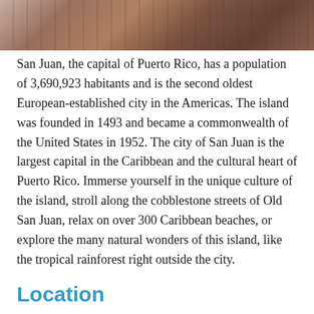[Figure (photo): Partial top view of stone or cobblestone architecture, likely Old San Juan historic structures, showing warm earth-toned masonry.]
San Juan, the capital of Puerto Rico, has a population of 3,690,923 habitants and is the second oldest European-established city in the Americas. The island was founded in 1493 and became a commonwealth of the United States in 1952. The city of San Juan is the largest capital in the Caribbean and the cultural heart of Puerto Rico. Immerse yourself in the unique culture of the island, stroll along the cobblestone streets of Old San Juan, relax on over 300 Caribbean beaches, or explore the many natural wonders of this island, like the tropical rainforest right outside the city.
Location
Students study at the Universidad del Sagrado Corazon in the heart of the city. The University of the Sacred Heart was founded in 1888 and is a Catholic, independent, co-